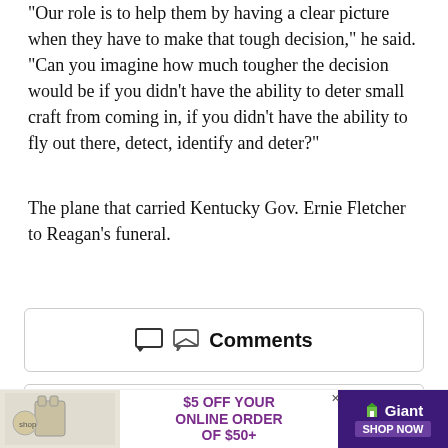"Our role is to help them by having a clear picture when they have to make that tough decision," he said. "Can you imagine how much tougher the decision would be if you didn't have the ability to deter small craft from coming in, if you didn't have the ability to fly out there, detect, identify and deter?"
The plane that carried Kentucky Gov. Ernie Fletcher to Reagan's funeral.
Comments
[Figure (illustration): Open envelope icon with a blue notification dot, representing a newsletter subscription prompt]
Today's WorldView newsletter
[Figure (infographic): Advertisement banner: $5 OFF YOUR ONLINE ORDER OF $50+ Giant SHOP NOW]